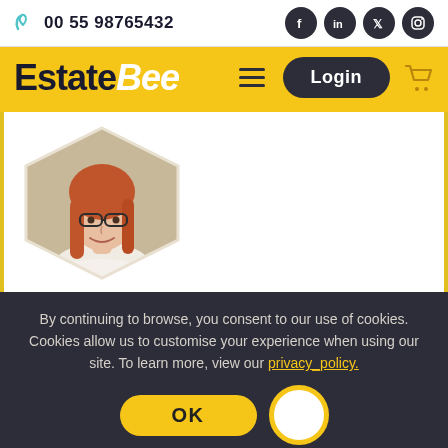00 55 98765432
EstateBee
[Figure (photo): Profile photo of a smiling woman with red hair and glasses, clipped in a hexagonal shape]
By continuing to browse, you consent to our use of cookies. Cookies allow us to customise your experience when using our site. To learn more, view our privacy_policy.